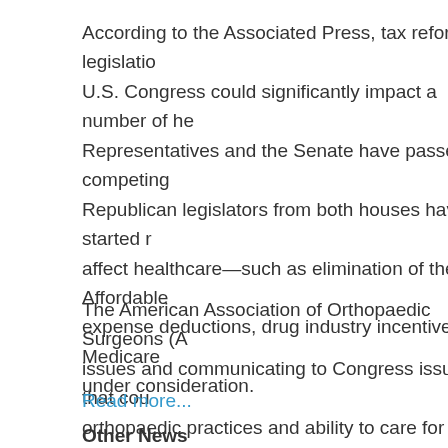According to the Associated Press, tax reform legislation being considered by the U.S. Congress could significantly impact a number of health provisions. The House of Representatives and the Senate have passed competing tax reform bills, and Republican legislators from both houses have started reconciling differences that affect healthcare—such as elimination of the Affordable Care Act (ACA) mandate, medical expense deductions, drug industry incentives, Medicare cuts, and other provisions still under consideration.
The American Association of Orthopaedic Surgeons (AAOS) is monitoring these issues and communicating to Congress issues that could significantly affect orthopaedic practices and ability to care for Medicare patients.
Read more...
Other News